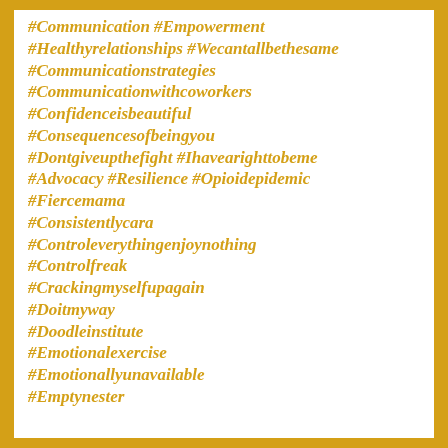#Communication #Empowerment
#Healthyrelationships #Wecantallbethesame
#Communicationstrategies
#Communicationwithcoworkers
#Confidenceisbeautiful
#Consequencesofbeingyou
#Dontgiveupthefight #Ihavearighttobeme
#Advocacy #Resilience #Opioidepidemic
#Fiercemama
#Consistentlycara
#Controleverythingenjoynothing
#Controlfreak
#Crackingmyselfupagain
#Doitmyway
#Doodleinstitute
#Emotionalexercise
#Emotionallyunavailable
#Emptynester